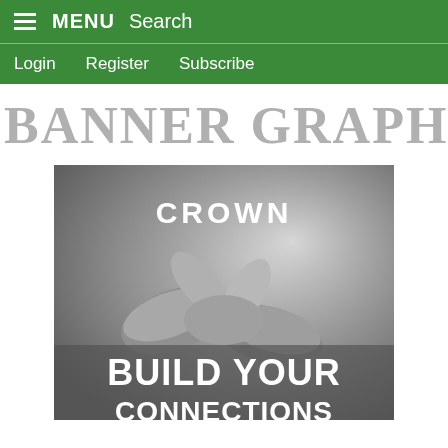MENU  Search
Login  Register  Subscribe
BANNER GRAPHIC
[Figure (photo): Advertisement image with a grayscale handshake photo, Crown logo at top, and text 'BUILD YOUR CONNECTIONS' at the bottom.]